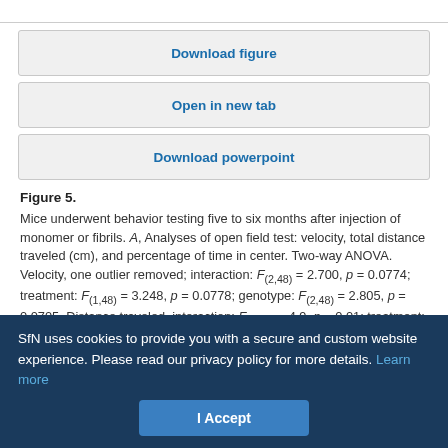Download figure
Open in new tab
Download powerpoint
Figure 5. Mice underwent behavior testing five to six months after injection of monomer or fibrils. A, Analyses of open field test: velocity, total distance traveled (cm), and percentage of time in center. Two-way ANOVA. Velocity, one outlier removed; interaction: F(2,48) = 2.700, p = 0.0774; treatment: F(1,48) = 3.248, p = 0.0778; genotype: F(2,48) = 2.805, p = 0.0705. Distance traveled, interaction: F(2,49) = 4.9, p = 0.01; treatment: F(1,49) = 0.79, p = 0.38; genotype: F(2,49) = 3.7, p = 0.03. Percent time in center, interaction: F(2,49) =
SfN uses cookies to provide you with a secure and custom website experience. Please read our privacy policy for more details. Learn more
I Accept